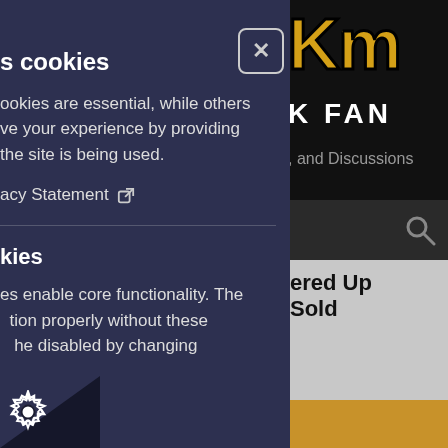[Figure (screenshot): Website background showing a sports fan forum page with black header, gold/yellow logo letters partially visible, 'K FAN' text, 'and Discussions' subtitle, search bar, article headline 'ered Up Sold' partially visible, and gold bar at bottom right.]
s cookies
ookies are essential, while others ve your experience by providing the site is being used.
acy Statement ⧉
kies
es enable core functionality. The tion properly without these he disabled by changing